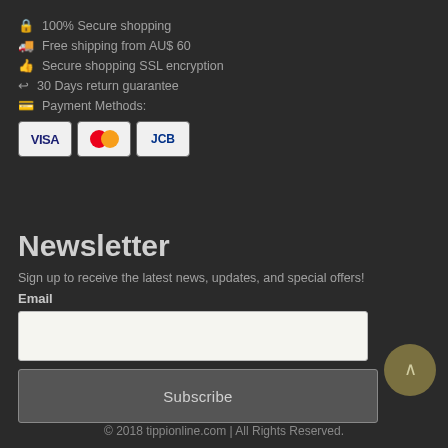🔒 100% Secure shopping
🚚 Free shipping from AU$ 60
👍 Secure shopping SSL encryption
↩ 30 Days return guarantee
💳 Payment Methods:
[Figure (other): Payment method badges: VISA, Mastercard, JCB]
Newsletter
Sign up to receive the latest news, updates, and special offers!
Email
[Figure (other): Email input text field]
[Figure (other): Subscribe button]
© 2018 tippionline.com | All Rights Reserved.